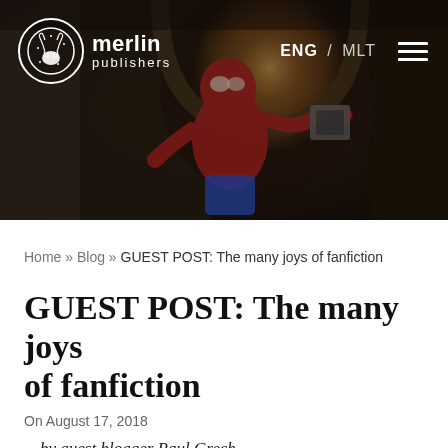[Figure (photo): Hero banner image of Spider-Man in costume, crouching near a stone arch with dramatic lighting. Merlin Publishers logo and navigation bar overlaid on top.]
merlin publishers | ENG / MLT
Home » Blog » GUEST POST: The many joys of fanfiction
GUEST POST: The many joys of fanfiction
On August 17, 2018
by guest blogger Paul Grech